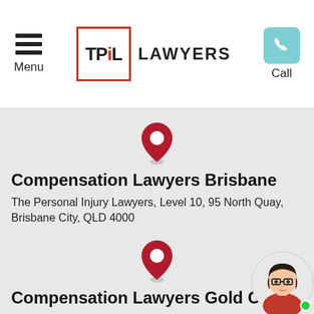[Figure (logo): TPiL Lawyers logo with hamburger menu and call button in header]
[Figure (illustration): Red map pin / location marker icon]
Compensation Lawyers Brisbane
The Personal Injury Lawyers, Level 10, 95 North Quay, Brisbane City, QLD 4000
[Figure (illustration): Red map pin / location marker icon]
Compensation Lawyers Gold Coast
The Personal Injury Lawyers, Level 6, 33 Elkhorn Ave, Surfers Paradise, QLD 4217
[Figure (illustration): Avatar of a woman with dark hair, glasses, and red top with a green online indicator dot]